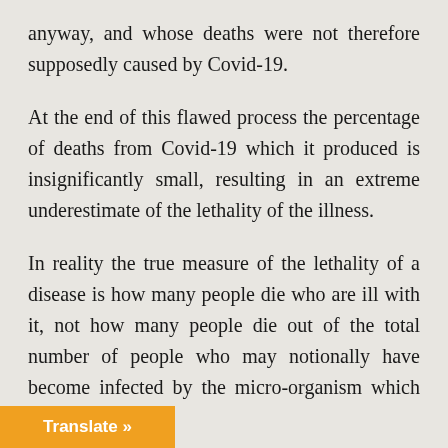anyway, and whose deaths were not therefore supposedly caused by Covid-19.
At the end of this flawed process the percentage of deaths from Covid-19 which it produced is insignificantly small, resulting in an extreme underestimate of the lethality of the illness.
In reality the true measure of the lethality of a disease is how many people die who are ill with it, not how many people die out of the total number of people who may notionally have become infected by the micro-organism which causes it.
As for the claim that most of those who die from Covid-19 are old or unhealthy, that is undoubtedly